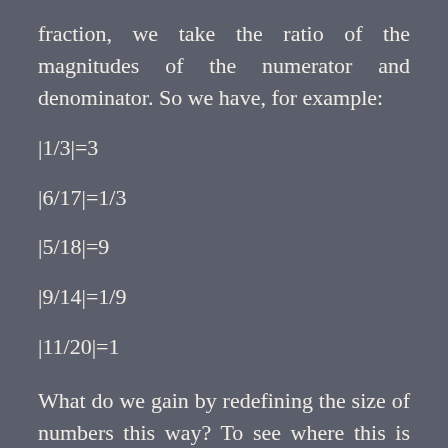fraction, we take the ratio of the magnitudes of the numerator and denominator. So we have, for example:
What do we gain by redefining the size of numbers this way? To see where this is taking